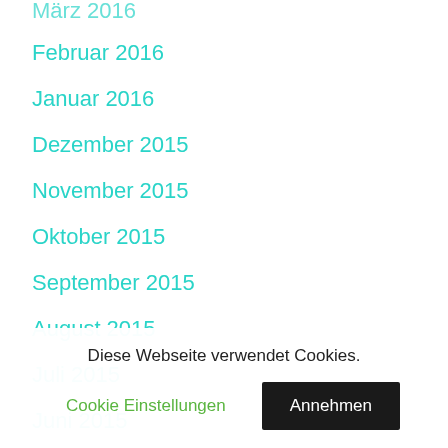März 2016
Februar 2016
Januar 2016
Dezember 2015
November 2015
Oktober 2015
September 2015
August 2015
Juli 2015
Juni 2015
Mai 2015
April 2015
Diese Webseite verwendet Cookies.
Cookie Einstellungen
Annehmen